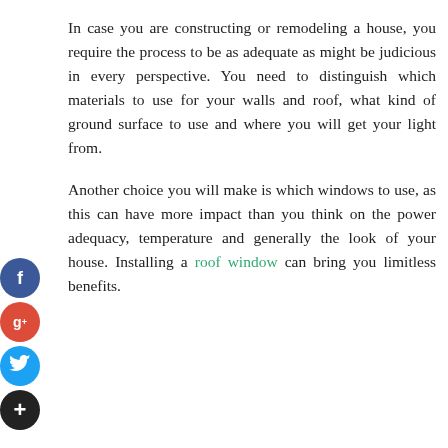In case you are constructing or remodeling a house, you require the process to be as adequate as might be judicious in every perspective. You need to distinguish which materials to use for your walls and roof, what kind of ground surface to use and where you will get your light from.
Another choice you will make is which windows to use, as this can have more impact than you think on the power adequacy, temperature and generally the look of your house. Installing a roof window can bring you limitless benefits.
[Figure (infographic): Social media sharing icons on the left side: Facebook (blue circle with 'f'), Google+ (red circle with 'g+'), Twitter (light blue circle with bird icon), and a dark circle with '+' symbol.]